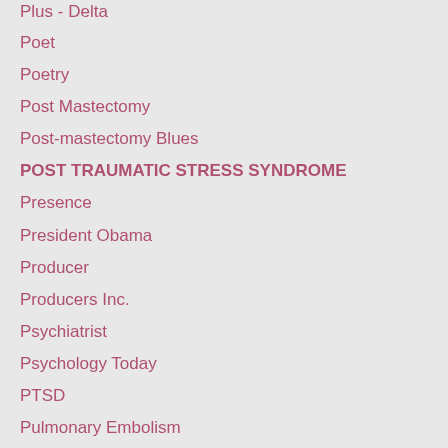Plus - Delta
Poet
Poetry
Post Mastectomy
Post-mastectomy Blues
POST TRAUMATIC STRESS SYNDROME
Presence
President Obama
Producer
Producers Inc.
Psychiatrist
Psychology Today
PTSD
Pulmonary Embolism
Putting Dog To Sleep
Quote From Belief Net
Rabbi
Rabbi Aaron Panken
Rabbi Counseling
Rabbi and Psychiatrist